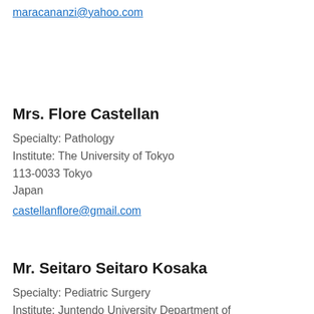maracananzi@yahoo.com
Mrs. Flore Castellan
Specialty: Pathology
Institute: The University of Tokyo
113-0033 Tokyo
Japan
castellanflore@gmail.com
Mr. Seitaro Seitaro Kosaka
Specialty: Pediatric Surgery
Institute: Juntendo University Department of ...